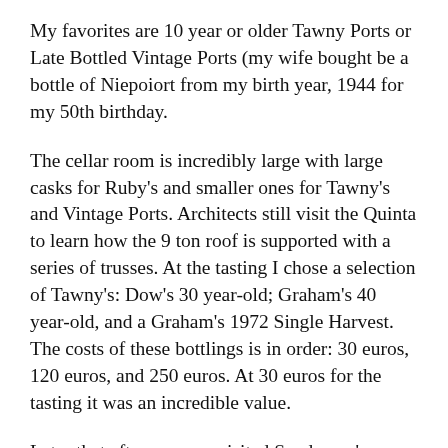My favorites are 10 year or older Tawny Ports or Late Bottled Vintage Ports (my wife bought be a bottle of Niepoiort from my birth year, 1944 for my 50th birthday.
The cellar room is incredibly large with large casks for Ruby's and smaller ones for Tawny's and Vintage Ports. Architects still visit the Quinta to learn how the 9 ton roof is supported with a series of trusses. At the tasting I chose a selection of Tawny's: Dow's 30 year-old; Graham's 40 year-old, and a Graham's 1972 Single Harvest. The costs of these bottlings is in order: 30 euros, 120 euros, and 250 euros. At 30 euros for the tasting it was an incredible value.
Later that afternoon we visited Sandeman's which is much more commercialized. Until a few years ago the only tours were at the Port Lodges in Vila Nova da Gaia, across the river from Oporto. Now you are